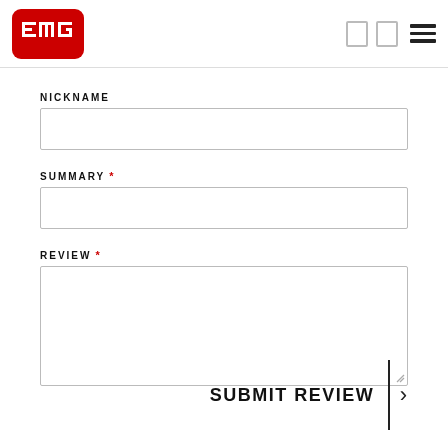[Figure (logo): EMG logo — red rounded rectangle with white EMG text]
NICKNAME
SUMMARY *
REVIEW *
SUBMIT REVIEW >